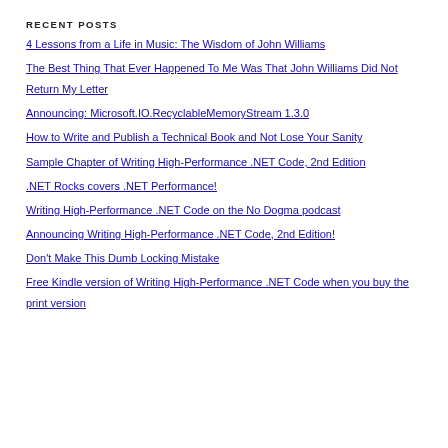RECENT POSTS
4 Lessons from a Life in Music: The Wisdom of John Williams
The Best Thing That Ever Happened To Me Was That John Williams Did Not Return My Letter
Announcing: Microsoft.IO.RecyclableMemoryStream 1.3.0
How to Write and Publish a Technical Book and Not Lose Your Sanity
Sample Chapter of Writing High-Performance .NET Code, 2nd Edition
.NET Rocks covers .NET Performance!
Writing High-Performance .NET Code on the No Dogma podcast
Announcing Writing High-Performance .NET Code, 2nd Edition!
Don't Make This Dumb Locking Mistake
Free Kindle version of Writing High-Performance .NET Code when you buy the print version